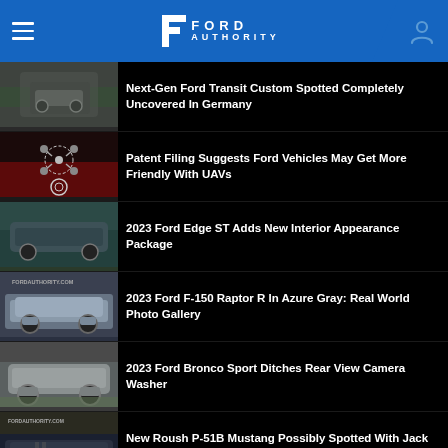Ford Authority
Next-Gen Ford Transit Custom Spotted Completely Uncovered In Germany
Patent Filing Suggests Ford Vehicles May Get More Friendly With UAVs
2023 Ford Edge ST Adds New Interior Appearance Package
2023 Ford F-150 Raptor R In Azure Gray: Real World Photo Gallery
2023 Ford Bronco Sport Ditches Rear View Camera Washer
New Roush P-51B Mustang Possibly Spotted With Jack Roush Himself (Updated)